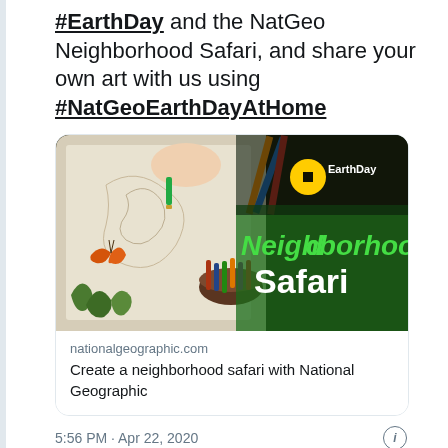#EarthDay and the NatGeo Neighborhood Safari, and share your own art with us using #NatGeoEarthDayAtHome
[Figure (screenshot): NatGeo EarthDay Neighborhood Safari card showing a person coloring wildlife art with pencils, overlaid with green 'Neighborhood Safari' branding and NatGeo Earth Day logo]
nationalgeographic.com
Create a neighborhood safari with National Geographic
5:56 PM · Apr 22, 2020
Read the full conversation on Twitter
222   Reply   Copy link